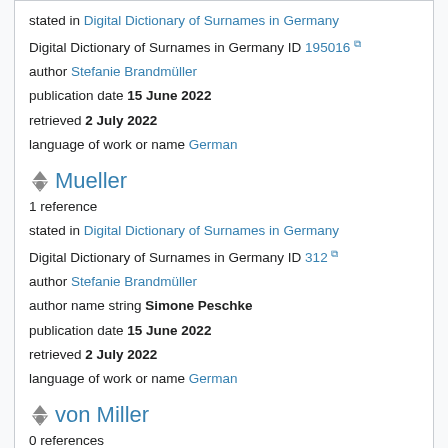stated in Digital Dictionary of Surnames in Germany
Digital Dictionary of Surnames in Germany ID 195016
author Stefanie Brandmüller
publication date 15 June 2022
retrieved 2 July 2022
language of work or name German
Mueller
1 reference
stated in Digital Dictionary of Surnames in Germany
Digital Dictionary of Surnames in Germany ID 312
author Stefanie Brandmüller
author name string Simone Peschke
publication date 15 June 2022
retrieved 2 July 2022
language of work or name German
von Miller
0 references
Commons category